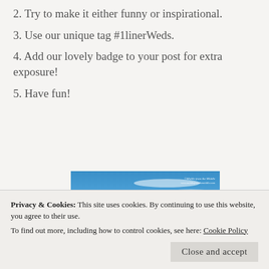2. Try to make it either funny or inspirational.
3. Use our unique tag #1linerWeds.
4. Add our lovely badge to your post for extra exposure!
5. Have fun!
[Figure (photo): Blue sky photo with white text overlay reading 'One Li...' vertically on the left and '©Middle from the Middle www.middlefromthemiddle.com' in the top right corner]
Privacy & Cookies: This site uses cookies. By continuing to use this website, you agree to their use.
To find out more, including how to control cookies, see here: Cookie Policy
Close and accept